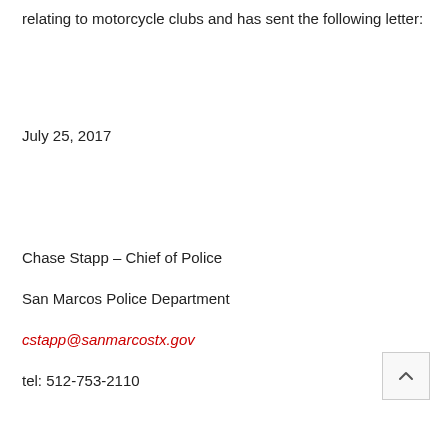relating to motorcycle clubs and has sent the following letter:
July 25, 2017
Chase Stapp – Chief of Police
San Marcos Police Department
cstapp@sanmarcostx.gov
tel: 512-753-2110